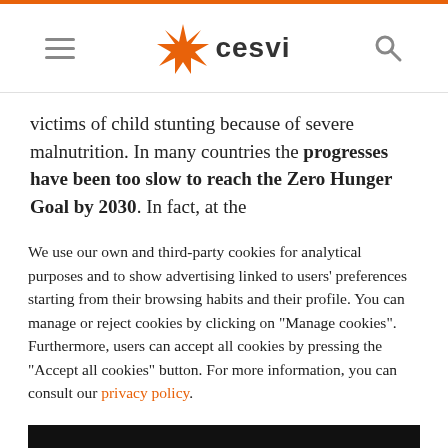cesvi (logo/navigation header)
victims of child stunting because of severe malnutrition. In many countries the progresses have been too slow to reach the Zero Hunger Goal by 2030. In fact, at the
We use our own and third-party cookies for analytical purposes and to show advertising linked to users' preferences starting from their browsing habits and their profile. You can manage or reject cookies by clicking on “Manage cookies”. Furthermore, users can accept all cookies by pressing the “Accept all cookies” button. For more information, you can consult our privacy policy.
ACCEPT ALL COOKIES
Manage cookies
Reject all cookies